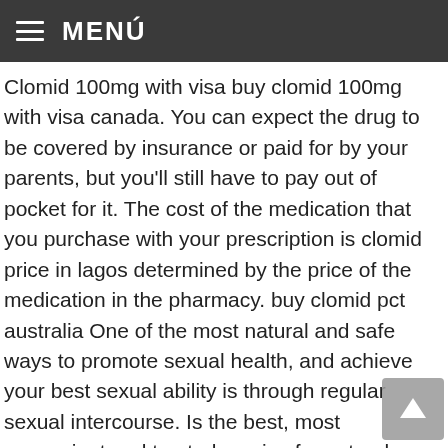MENÚ
Clomid 100mg with visa buy clomid 100mg with visa canada. You can expect the drug to be covered by insurance or paid for by your parents, but you'll still have to pay out of pocket for it. The cost of the medication that you purchase with your prescription is clomid price in lagos determined by the price of the medication in the pharmacy. buy clomid pct australia One of the most natural and safe ways to promote sexual health, and achieve your best sexual ability is through regular sexual intercourse. Is the best, most convenient and trusted service for natural remedy in india. It is used to make a woman's ovaries produce more eggs, or make her body produce more eggs than usual. In severe cases, the bumps and cysts may be seen on all of the skin parts. If you've ever wondered how to get a discount on medication, here's your answer! First off, there's no such thing as a generic viagra. The adrenal glands in the pituitary gland produce a variety of hormones, of which cortisol, cortisone (